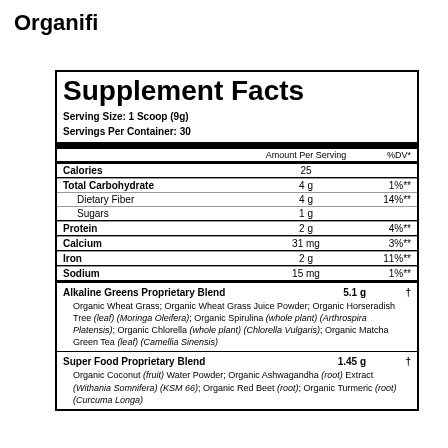Organifi
|  | Amount Per Serving | %DV* |
| --- | --- | --- |
| Calories | 25 |  |
| Total Carbohydrate | 4 g | 1%** |
| Dietary Fiber | 4 g | 14%** |
| Sugars | 1 g |  |
| Protein | 2 g | 4%** |
| Calcium | 31 mg | 3%** |
| Iron | 2 g | 11%** |
| Sodium | 15 mg | 1%** |
Alkaline Greens Proprietary Blend   5.1 g   †
Organic Wheat Grass; Organic Wheat Grass Juice Powder; Organic Horseradish Tree (leaf) (Moringa Oleifera); Organic Spirulina (whole plant) (Arthrospira Platensis); Organic Chlorella (whole plant) (Chlorella Vulgaris); Organic Matcha Green Tea (leaf) (Camellia Sinensis)
Super Food Proprietary Blend   1.45 g   †
Organic Coconut (fruit) Water Powder; Organic Ashwagandha (root) Extract (Withania Somnifera) (KSM 66); Organic Red Beet (root); Organic Turmeric (root) (Curcuma Longa)